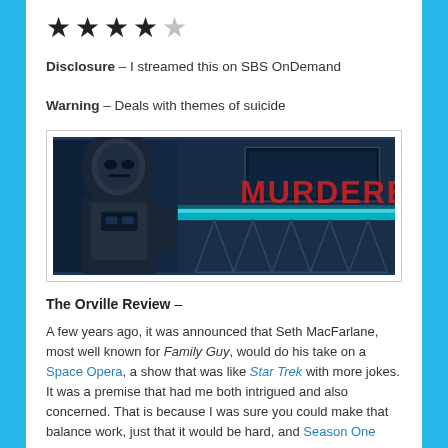[Figure (other): Star rating showing 4 out of 5 filled stars (4 black stars, 1 grey star)]
Disclosure – I streamed this on SBS OnDemand
Warning – Deals with themes of suicide
[Figure (photo): A still from The Orville showing a robot/android figure on the left and the word MURDERER written in red on a wall/screen in the background, with futuristic sci-fi interior setting]
The Orville Review –
A few years ago, it was announced that Seth MacFarlane, most well known for Family Guy, would do his take on a Space Opera, a show that was like Star Trek with more jokes. It was a premise that had me both intrigued and also concerned. That is because I was sure you could make that balance work, just that it would be hard, and Season One was rough at times. But by the time Season